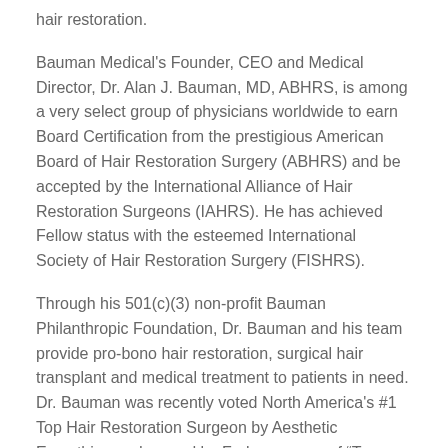hair restoration.
Bauman Medical's Founder, CEO and Medical Director, Dr. Alan J. Bauman, MD, ABHRS, is among a very select group of physicians worldwide to earn Board Certification from the prestigious American Board of Hair Restoration Surgery (ABHRS) and be accepted by the International Alliance of Hair Restoration Surgeons (IAHRS). He has achieved Fellow status with the esteemed International Society of Hair Restoration Surgery (FISHRS).
Through his 501(c)(3) non-profit Bauman Philanthropic Foundation, Dr. Bauman and his team provide pro-bono hair restoration, surgical hair transplant and medical treatment to patients in need. Dr. Bauman was recently voted North America's #1 Top Hair Restoration Surgeon by Aesthetic Everything and named by Forbes as one of “Ten CEOs Transforming Healthcare in America.” Dr. Bauman is a frequent guest expert and faculty member at many major international medical conferences and has been featured in hundreds of news stories in the traditional and electronic media. In addition to teaching and consulting worldwide, he